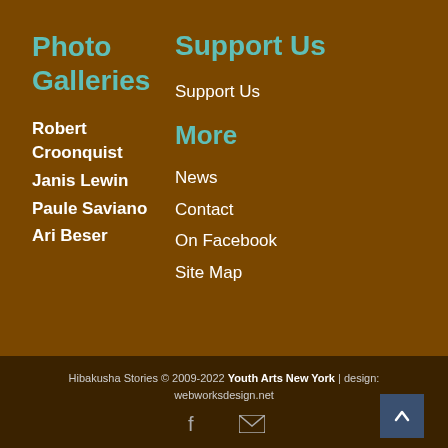Photo Galleries
Robert Croonquist
Janis Lewin
Paule Saviano
Ari Beser
Support Us
Support Us
More
News
Contact
On Facebook
Site Map
Hibakusha Stories © 2009-2022 Youth Arts New York | design: webworksdesign.net